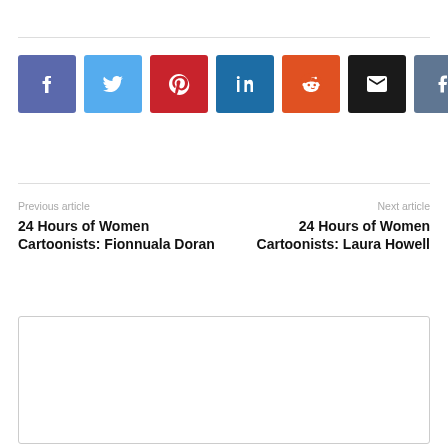[Figure (infographic): Row of 7 social share buttons: Facebook (blue-purple), Twitter (light blue), Pinterest (red), LinkedIn (dark blue), Reddit (orange), Email (black), Tumblr (slate blue)]
Previous article
24 Hours of Women Cartoonists: Fionnuala Doran
Next article
24 Hours of Women Cartoonists: Laura Howell
[Figure (other): Empty white comment/content box with border]